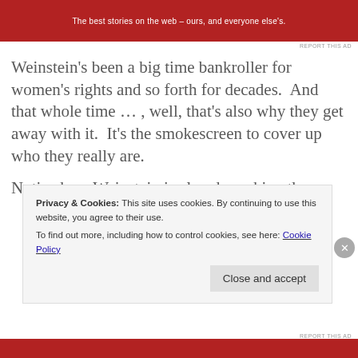[Figure (other): Red advertisement banner with white text: 'The best stories on the web – ours, and everyone else's.']
REPORT THIS AD
Weinstein's been a big time bankroller for women's rights and so forth for decades.  And that whole time … , well, that's also why they get away with it.  It's the smokescreen to cover up who they really are.
Notice how Weinstein is already making the
Privacy & Cookies: This site uses cookies. By continuing to use this website, you agree to their use.
To find out more, including how to control cookies, see here: Cookie Policy
Close and accept
[Figure (other): Red advertisement banner at bottom of page]